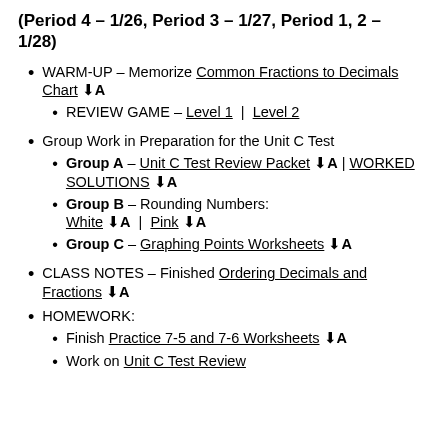(Period 4 - 1/26, Period 3 - 1/27, Period 1, 2 - 1/28)
WARM-UP - Memorize Common Fractions to Decimals Chart [download/link icon]
REVIEW GAME - Level 1 | Level 2
Group Work in Preparation for the Unit C Test
Group A - Unit C Test Review Packet [icon] | WORKED SOLUTIONS [icon]
Group B - Rounding Numbers: White [icon] | Pink [icon]
Group C - Graphing Points Worksheets [icon]
CLASS NOTES - Finished Ordering Decimals and Fractions [icon]
HOMEWORK:
Finish Practice 7-5 and 7-6 Worksheets [icon]
Work on Unit C Test Review